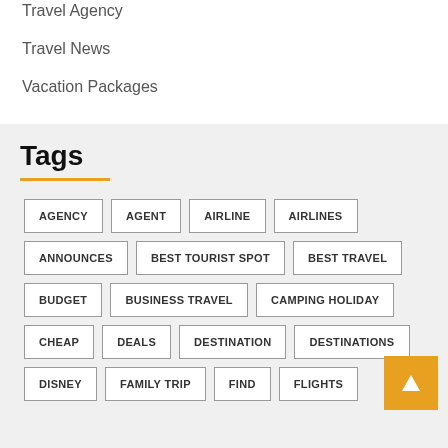Travel Agency
Travel News
Vacation Packages
Tags
AGENCY
AGENT
AIRLINE
AIRLINES
ANNOUNCES
BEST TOURIST SPOT
BEST TRAVEL
BUDGET
BUSINESS TRAVEL
CAMPING HOLIDAY
CHEAP
DEALS
DESTINATION
DESTINATIONS
DISNEY
FAMILY TRIP
FIND
FLIGHTS